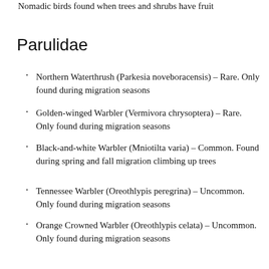Nomadic birds found when trees and shrubs have fruit
Parulidae
Northern Waterthrush (Parkesia noveboracensis) – Rare. Only found during migration seasons
Golden-winged Warbler (Vermivora chrysoptera) – Rare. Only found during migration seasons
Black-and-white Warbler (Mniotilta varia) – Common. Found during spring and fall migration climbing up trees
Tennessee Warbler (Oreothlypis peregrina) – Uncommon. Only found during migration seasons
Orange Crowned Warbler (Oreothlypis celata) – Uncommon. Only found during migration seasons
Nashville Warbler (Oreothlypis ruficapilla) – Common. Found during spring and fall migration
Common Yellowthroat (Geothlypis trichas) –